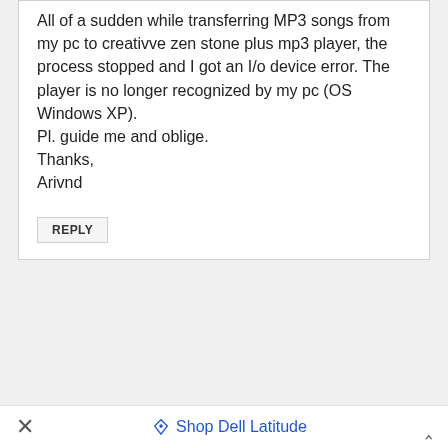All of a sudden while transferring MP3 songs from my pc to creativve zen stone plus mp3 player, the process stopped and I got an I/o device error. The player is no longer recognized by my pc (OS Windows XP).
Pl. guide me and oblige.
Thanks,
Arivnd
REPLY
laptop cd/drivers problem
18 February, 2011 at 8:11 am
hi im having a compaq presario laptop with the same error.
I got the error after i installed XP on my laptop, normally use vista.
The problem is that it shows in the device manager
Shop Dell Latitude